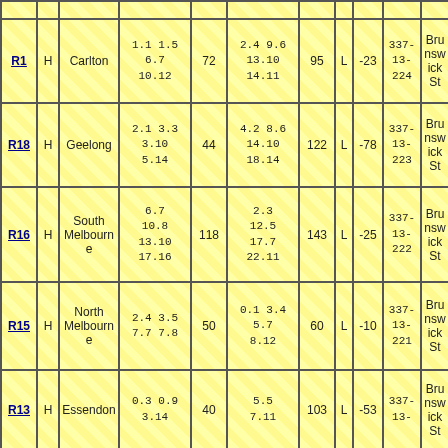| Round | H/A | Opponent | Q scores (own) | Score | Q scores (opp) | Score | W/L | Margin | Venue | Location |
| --- | --- | --- | --- | --- | --- | --- | --- | --- | --- | --- |
| R1 | H | Carlton | 1.1 1.5 6.7 10.12 | 72 | 2.4 9.6 13.10 14.11 | 95 | L | -23 | 337-13-224 | Brunswick St |
| R18 | H | Geelong | 2.1 3.3 3.10 5.14 | 44 | 4.2 8.6 14.10 18.14 | 122 | L | -78 | 337-13-223 | Brunswick St |
| R16 | H | South Melbourne | 6.7 10.8 13.10 17.16 | 118 | 2.3 12.5 17.7 22.11 | 143 | L | -25 | 337-13-222 | Brunswick St |
| R15 | H | North Melbourne | 2.4 3.5 7.7 7.8 | 50 | 0.1 3.4 5.7 8.12 | 60 | L | -10 | 337-13-221 | Brunswick St |
| R13 | H | Essendon | 0.3 0.9 3.14 ... | 40 | 5.5 7.11 ... | 103 | L | -53 | 337-13-... | Brunswick St |